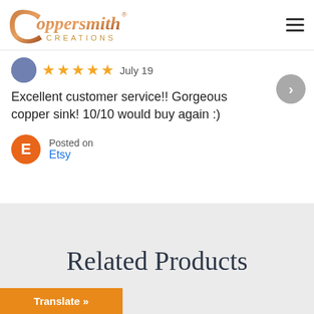[Figure (logo): Coppersmith Creations logo with copper script lettering and CREATIONS in gold below]
★★★★★ July 19
Excellent customer service!! Gorgeous copper sink! 10/10 would buy again :)
Posted on
Etsy
Related Products
Translate »